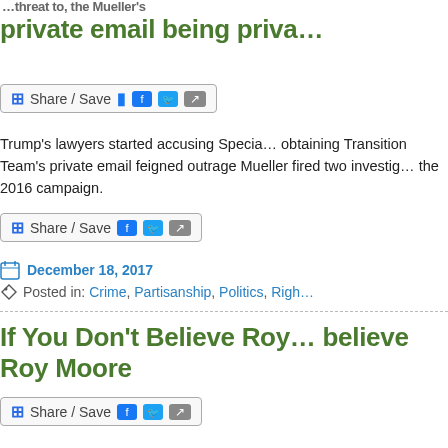private email being priva…
[Figure (screenshot): Share/Save button with Facebook, Twitter, and share icons]
Trump's lawyers started accusing Specia… obtaining Transition Team's private email feigned outrage Mueller fired two investig… the 2016 campaign.
[Figure (screenshot): Share/Save button with Facebook, Twitter, and share icons]
December 18, 2017
Posted in: Crime, Partisanship, Politics, Righ…
If You Don't Believe Roy… believe Roy Moore
[Figure (screenshot): Share/Save button with Facebook, Twitter, and share icons]
Roy Moore's supporters believe him whe… opponents and all nine accusers are lying… otherwise.
[Figure (screenshot): Share/Save button with Facebook, Twitter, and share icons]